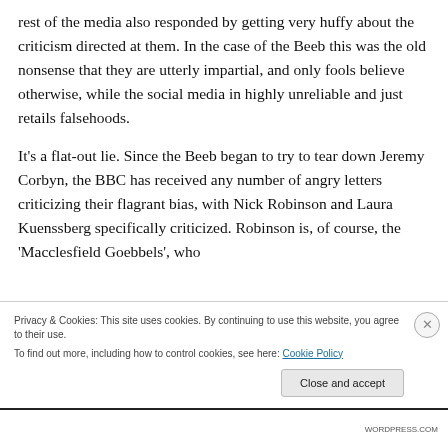rest of the media also responded by getting very huffy about the criticism directed at them. In the case of the Beeb this was the old nonsense that they are utterly impartial, and only fools believe otherwise, while the social media in highly unreliable and just retails falsehoods.
It's a flat-out lie. Since the Beeb began to try to tear down Jeremy Corbyn, the BBC has received any number of angry letters criticizing their flagrant bias, with Nick Robinson and Laura Kuenssberg specifically criticized. Robinson is, of course, the 'Macclesfield Goebbels', who
Privacy & Cookies: This site uses cookies. By continuing to use this website, you agree to their use.
To find out more, including how to control cookies, see here: Cookie Policy
Close and accept